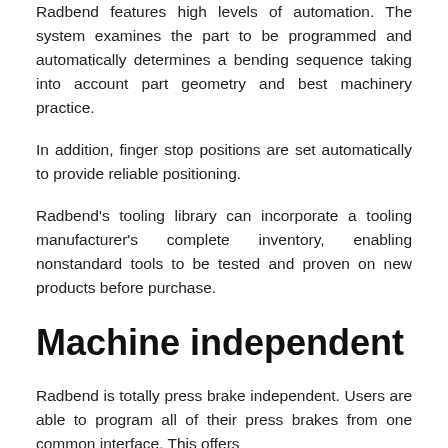Radbend features high levels of automation. The system examines the part to be programmed and automatically determines a bending sequence taking into account part geometry and best machinery practice.
In addition, finger stop positions are set automatically to provide reliable positioning.
Radbend's tooling library can incorporate a tooling manufacturer's complete inventory, enabling nonstandard tools to be tested and proven on new products before purchase.
Machine independent
Radbend is totally press brake independent. Users are able to program all of their press brakes from one common interface. This offers